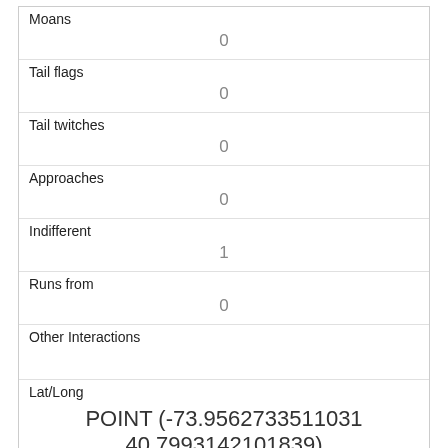| Moans | 0 |
| Tail flags | 0 |
| Tail twitches | 0 |
| Approaches | 0 |
| Indifferent | 1 |
| Runs from | 0 |
| Other Interactions |  |
| Lat/Long | POINT (-73.9562733511031 40.7993142101839) |
| Link | 1925 |
| rowid |  |